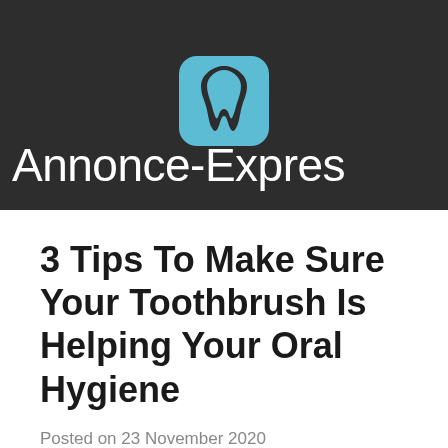[Figure (logo): Annonce-Express website header with dark background, light blue tooth icon logo, and white site name text 'Annonce-Expres' partially visible]
3 Tips To Make Sure Your Toothbrush Is Helping Your Oral Hygiene
Posted on 23 November 2020